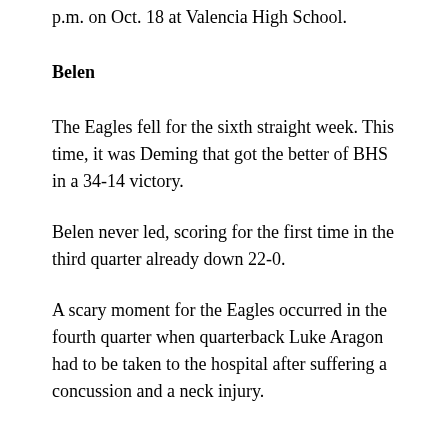p.m. on Oct. 18 at Valencia High School.
Belen
The Eagles fell for the sixth straight week. This time, it was Deming that got the better of BHS in a 34-14 victory.
Belen never led, scoring for the first time in the third quarter already down 22-0.
A scary moment for the Eagles occurred in the fourth quarter when quarterback Luke Aragon had to be taken to the hospital after suffering a concussion and a neck injury.